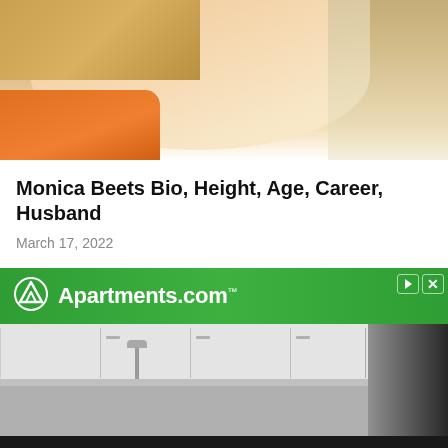[Figure (photo): Partial photo of a woman with blonde hair wearing an orange safety vest, cropped to show face and upper body against a blurred background]
Monica Beets Bio, Height, Age, Career, Husband
March 17, 2022
[Figure (photo): Apartments.com advertisement banner with green gradient background, white logo icon and white text reading Apartments.com with trademark symbol, play and close buttons in top right]
[Figure (photo): Photo of a modern kitchen interior showing white upper cabinets, a faucet/sink, and dark area on the right side]
We use cookies to ensure that we give you the best experience on our website. If you continue to use this site we will assume that you are happy with it.
Ok  Privacy policy